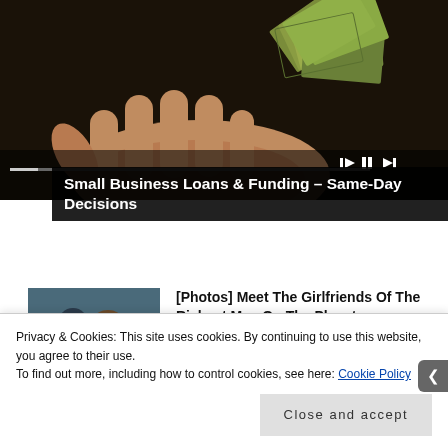[Figure (photo): Hand outstretched holding a fan of dollar bills against a dark background, with video player controls (previous, pause, next) and a progress bar overlaid at the bottom of the image.]
Small Business Loans & Funding – Same-Day Decisions
[Figure (photo): Thumbnail showing two people in sunglasses, a man in a suit and a woman, sitting in what appears to be stadium seating.]
[Photos] Meet The Girlfriends Of The Richest Men On The Planet
Bon Voyaged
Privacy & Cookies: This site uses cookies. By continuing to use this website, you agree to their use.
To find out more, including how to control cookies, see here: Cookie Policy
Close and accept